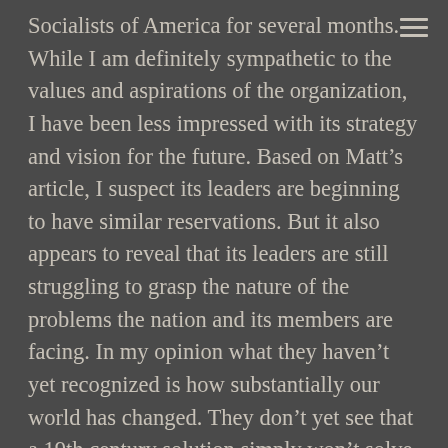Socialists of America for several months. While I am definitely sympathetic to the values and aspirations of the organization, I have been less impressed with its strategy and vision for the future. Based on Matt’s article, I suspect its leaders are beginning to have similar reservations. But it also appears to reveal that its leaders are still struggling to grasp the nature of the problems the nation and its members are facing. In my opinion what they haven’t yet recognized is how substantially our world has changed. They don’t yet see that a 19th century solution simply won’t solve our 21st century problems.
What people like Bhaskar Sunkara don’t recognize is that the reason most people are “not